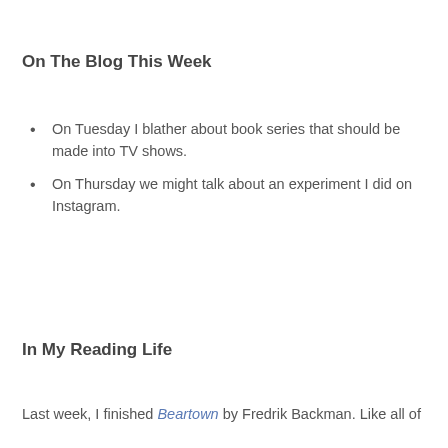On The Blog This Week
On Tuesday I blather about book series that should be made into TV shows.
On Thursday we might talk about an experiment I did on Instagram.
In My Reading Life
Last week, I finished Beartown by Fredrik Backman. Like all of